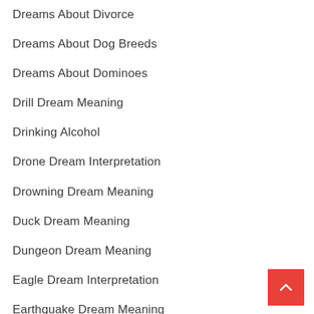Dreams About Divorce
Dreams About Dog Breeds
Dreams About Dominoes
Drill Dream Meaning
Drinking Alcohol
Drone Dream Interpretation
Drowning Dream Meaning
Duck Dream Meaning
Dungeon Dream Meaning
Eagle Dream Interpretation
Earthquake Dream Meaning